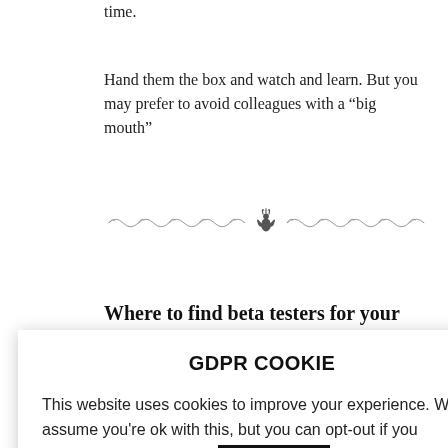time.
Hand them the box and watch and learn. But you may prefer to avoid colleagues with a “big mouth”
[Figure (illustration): Decorative horizontal divider with ornamental scrollwork and a central emblem, used as a section separator.]
Where to find beta testers for your board game in other commercial settings
You can find beta testers for your board game in more commercial settings by going onto freelance websites [testers in your [ard game by [owdfunding [rter. [where you can find beta testers for your board game from (quasi)
[Figure (other): GDPR Cookie consent popup overlay. Title: GDPR COOKIE. Body: This website uses cookies to improve your experience. We'll assume you're ok with this, but you can opt-out if you wish. Contains a 'Cookie settings' link in green and an 'ACCEPT' button in black.]